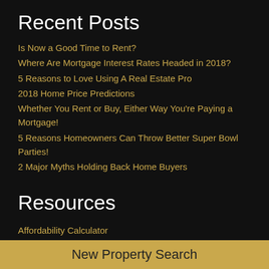Recent Posts
Is Now a Good Time to Rent?
Where Are Mortgage Interest Rates Headed in 2018?
5 Reasons to Love Using A Real Estate Pro
2018 Home Price Predictions
Whether You Rent or Buy, Either Way You're Paying a Mortgage!
5 Reasons Homeowners Can Throw Better Super Bowl Parties!
2 Major Myths Holding Back Home Buyers
Resources
Affordability Calculator
Arizona State and Local Government
Community Lifestyle Data
Home Value Estimator
Instant CMA (Comparative Market Analysis)
Recent Home Sales
Mortgage Calculator
New Property Search